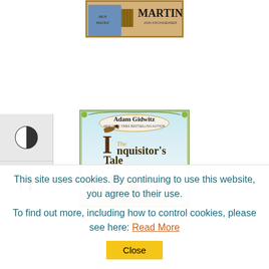[Figure (photo): Top portion of a book cover featuring 'MARTIN' text visible, illustrated by Ben Hatke]
[Figure (photo): Book cover of 'The Inquisitor's Tale: Or, The Three Magical Children and Their Holy Dog' by Adam Gidwitz, New York Times Bestselling Author, illustrated by Hatem Aly. Shows three children and a dog on a path with decorative floral border.]
This site uses cookies. By continuing to use this website, you agree to their use.
To find out more, including how to control cookies, please see here: Read More
Close